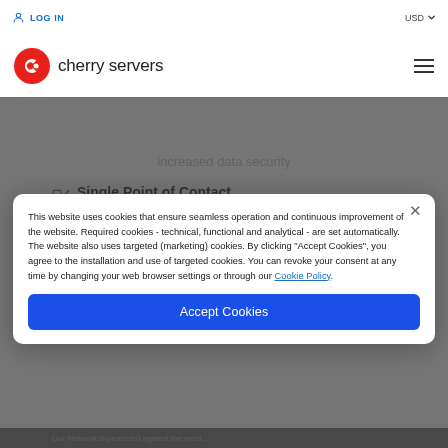LOG IN   USD
[Figure (logo): Cherry Servers logo - red circle with white arrow/C shape, followed by text 'cherry servers']
increased data security
Single Point of Contact
This website uses cookies that ensure seamless operation and continuous improvement of the website. Required cookies - technical, functional and analytical - are set automatically. The website also uses targeted (marketing) cookies. By clicking "Accept Cookies", you agree to the installation and use of targeted cookies. You can revoke your consent at any time by changing your web browser settings or through our Cookie Policy.
Accept Cookies